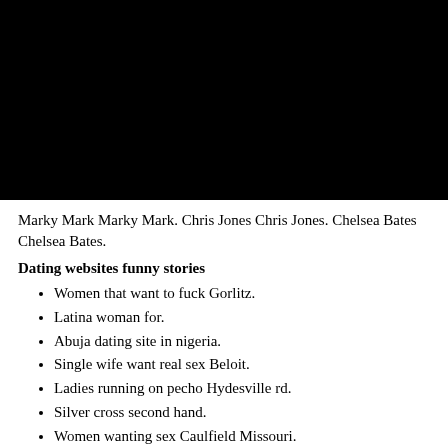[Figure (photo): Large black rectangle filling the top portion of the page, likely a dark/black image.]
Marky Mark Marky Mark. Chris Jones Chris Jones. Chelsea Bates Chelsea Bates.
Dating websites funny stories
Women that want to fuck Gorlitz.
Latina woman for.
Abuja dating site in nigeria.
Single wife want real sex Beloit.
Ladies running on pecho Hydesville rd.
Silver cross second hand.
Women wanting sex Caulfield Missouri.